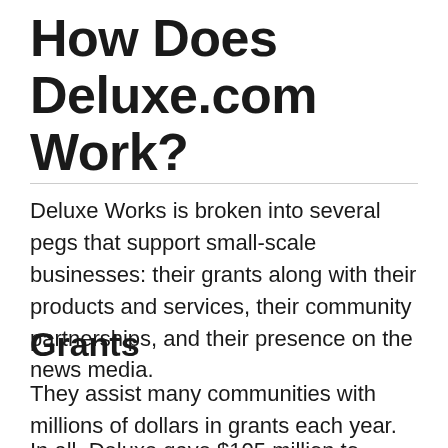How Does Deluxe.com Work?
Deluxe Works is broken into several pegs that support small-scale businesses: their grants along with their products and services, their community partnerships, and their presence on the news media.
Grants
They assist many communities with millions of dollars in grants each year.
In all, Deluxe gave $105 million to nonprofit